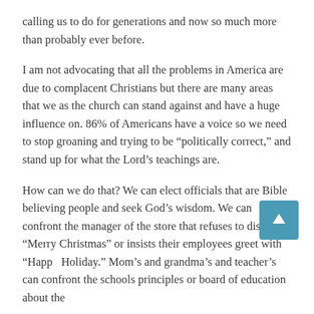calling us to do for generations and now so much more than probably ever before.
I am not advocating that all the problems in America are due to complacent Christians but there are many areas that we as the church can stand against and have a huge influence on. 86% of Americans have a voice so we need to stop groaning and trying to be “politically correct,” and stand up for what the Lord’s teachings are.
How can we do that? We can elect officials that are Bible believing people and seek God’s wisdom. We can confront the manager of the store that refuses to display “Merry Christmas” or insists their employees greet with “Happy Holiday.” Mom’s and grandma’s and teacher’s can confront the schools principles or board of education about the